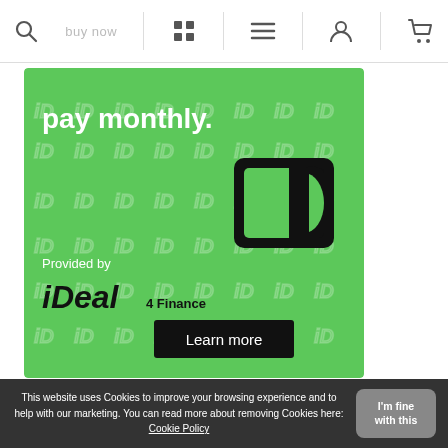Navigation bar with search, grid, menu, user, and cart icons
[Figure (illustration): Green iDeal 4 Finance banner advertisement showing 'pay monthly.' text, Provided by iDeal 4 Finance logo, a Learn more button, and iD watermark pattern background with a stylized iD icon]
[Figure (logo): Trustpilot logo with star icon and text 'Trustpilot', followed by 5 green star rating boxes showing 4.7 score and TrustScore 4.7 | 357 reviews text]
TrustScore 4.7  |  357 reviews
This website uses Cookies to improve your browsing experience and to help with our marketing. You can read more about removing Cookies here: Cookie Policy